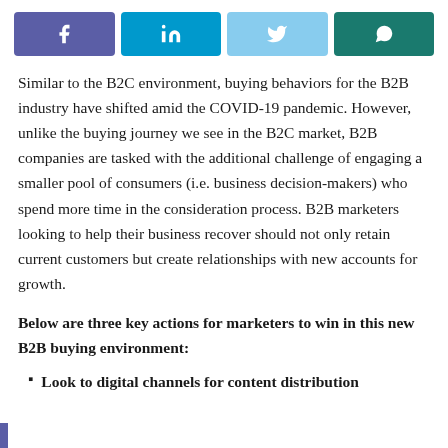[Figure (other): Social sharing buttons: Facebook (purple), LinkedIn (blue), Twitter (light blue), WhatsApp (dark teal)]
Similar to the B2C environment, buying behaviors for the B2B industry have shifted amid the COVID-19 pandemic. However, unlike the buying journey we see in the B2C market, B2B companies are tasked with the additional challenge of engaging a smaller pool of consumers (i.e. business decision-makers) who spend more time in the consideration process. B2B marketers looking to help their business recover should not only retain current customers but create relationships with new accounts for growth.
Below are three key actions for marketers to win in this new B2B buying environment:
Look to digital channels for content distribution